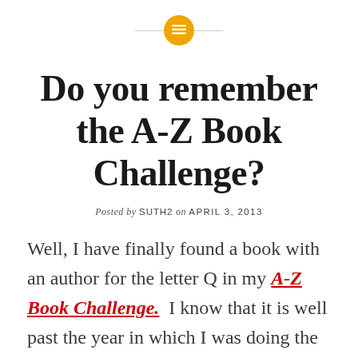[Figure (other): Yellow circular icon with horizontal lines (list/blog icon) centered at top with a thin horizontal line behind it]
Do you remember the A-Z Book Challenge?
Posted by SUTH2 on APRIL 3, 2013
Well, I have finally found a book with an author for the letter Q in my A-Z Book Challenge.  I know that it is well past the year in which I was doing the challenge, but...